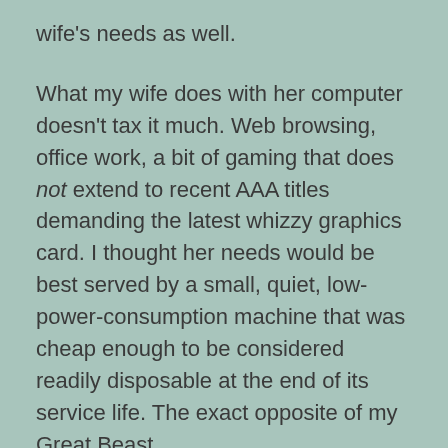wife's needs as well.
What my wife does with her computer doesn't tax it much. Web browsing, office work, a bit of gaming that does not extend to recent AAA titles demanding the latest whizzy graphics card. I thought her needs would be best served by a small, quiet, low-power-consumption machine that was cheap enough to be considered readily disposable at the end of its service life. The exact opposite of my Great Beast…
The NUC was an experiment that made Cathy